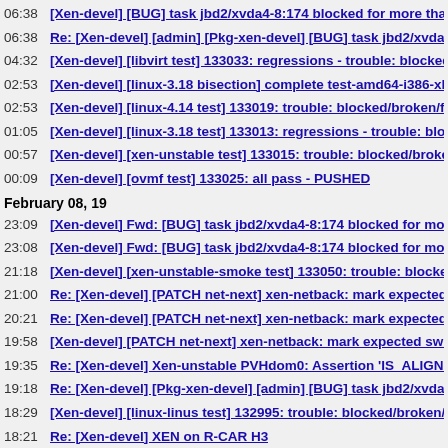06:38 [Xen-devel] [BUG] task jbd2/xvda4-8:174 blocked for more than 120 seco
06:38 Re: [Xen-devel] [admin] [Pkg-xen-devel] [BUG] task jbd2/xvda4-8:174 blo
04:32 [Xen-devel] [libvirt test] 133033: regressions - trouble: blocked/broken/fa
02:53 [Xen-devel] [linux-3.18 bisection] complete test-amd64-i386-xl-qemuu-ov
02:53 [Xen-devel] [linux-4.14 test] 133019: trouble: blocked/broken/fail/pass
01:05 [Xen-devel] [linux-3.18 test] 133013: regressions - trouble: blocked/brok
00:57 [Xen-devel] [xen-unstable test] 133015: trouble: blocked/broken/fail/pass
00:09 [Xen-devel] [ovmf test] 133025: all pass - PUSHED
February 08, 19
23:09 [Xen-devel] Fwd: [BUG] task jbd2/xvda4-8:174 blocked for more than 120
23:08 [Xen-devel] Fwd: [BUG] task jbd2/xvda4-8:174 blocked for more than 120
21:18 [Xen-devel] [xen-unstable-smoke test] 133050: trouble: blocked/broken/p
21:00 Re: [Xen-devel] [PATCH net-next] xen-netback: mark expected switch fal
20:21 Re: [Xen-devel] [PATCH net-next] xen-netback: mark expected switch fal
19:58 [Xen-devel] [PATCH net-next] xen-netback: mark expected switch fall-thr
19:35 Re: [Xen-devel] Xen-unstable PVHdom0: Assertion 'IS_ALIGNED(dfn_x(d
19:18 Re: [Xen-devel] [Pkg-xen-devel] [admin] [BUG] task jbd2/xvda4-8:174 blo
18:29 [Xen-devel] [linux-linus test] 132995: trouble: blocked/broken/fail/pass
18:21 Re: [Xen-devel] XEN on R-CAR H3
18:12 Re: [Xen-devel] [xen-unstable-smoke test] 133030: trouble: blocked/brok